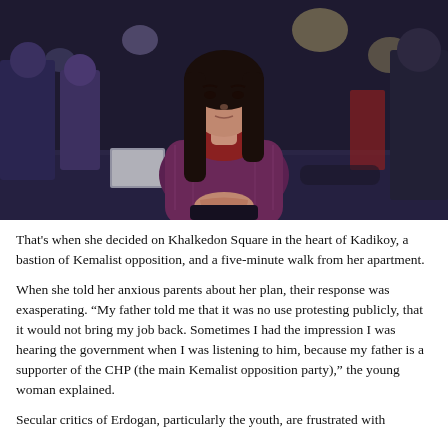[Figure (photo): A young woman with long dark hair, wearing a purple/maroon puffer jacket and dark scarf, sitting outdoors on a street in a busy urban area. She has her hands clasped together and is looking at the camera. The background shows a blurred busy street with other pedestrians and bokeh lights.]
That's when she decided on Khalkedon Square in the heart of Kadikoy, a bastion of Kemalist opposition, and a five-minute walk from her apartment.
When she told her anxious parents about her plan, their response was exasperating. “My father told me that it was no use protesting publicly, that it would not bring my job back. Sometimes I had the impression I was hearing the government when I was listening to him, because my father is a supporter of the CHP (the main Kemalist opposition party),” the young woman explained.
Secular critics of Erdogan, particularly the youth, are frustrated with